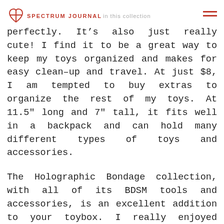SPECTRUM JOURNAL in this collection
perfectly. It’s also just really cute! I find it to be a great way to keep my toys organized and makes for easy clean–up and travel. At just $8, I am tempted to buy extras to organize the rest of my toys. At 11.5″ long and 7″ tall, it fits well in a backpack and can hold many different types of toys and accessories.
The Holographic Bondage collection, with all of its BDSM tools and accessories, is an excellent addition to your toybox. I really enjoyed incorporating it into my role plays and excitedly recommend this as a great BDSM introductory toy selection that can grow with you as you gain more experience. Each of the